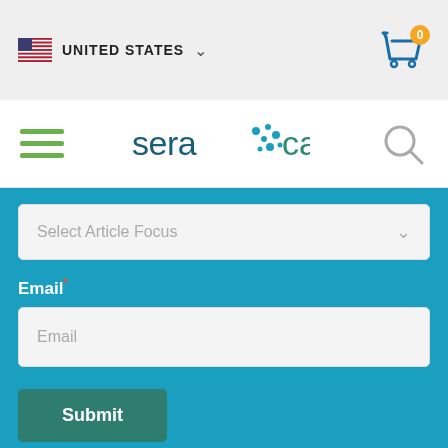[Figure (logo): US flag icon and UNITED STATES dropdown in top navigation bar]
[Figure (logo): Shopping cart icon with orange badge showing 0 items]
[Figure (logo): Hamburger menu icon with three green horizontal lines]
[Figure (logo): SeraCare logo in teal/dark blue with dot pattern forming a cross]
[Figure (logo): Search (magnifying glass) icon]
Select Article Focus
Email*
Email
Submit